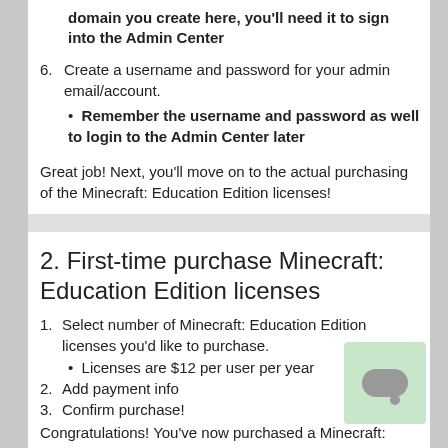domain you create here, you'll need it to sign into the Admin Center
6. Create a username and password for your admin email/account.
Remember the username and password as well to login to the Admin Center later
Great job! Next, you'll move on to the actual purchasing of the Minecraft: Education Edition licenses!
2. First-time purchase Minecraft: Education Edition licenses
1. Select number of Minecraft: Education Edition licenses you'd like to purchase.
Licenses are $12 per user per year
2. Add payment info
3. Confirm purchase!
Congratulations! You've now purchased a Minecraft: